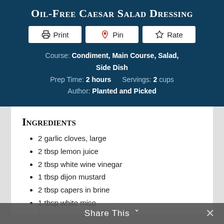Oil-Free Caesar Salad Dressing
Print | Pin | Rate
Course: Condiment, Main Course, Salad, Side Dish
Prep Time: 2 hours    Servings: 2 cups
Author: Planted and Picked
Ingredients
2 garlic cloves, large
2 tbsp lemon juice
2 tbsp white wine vinegar
1 tbsp dijon mustard
2 tbsp capers in brine
1 tbsp white miso
1 tsp tamari
1 tsp dulse flakes
1/4 cup hemp seeds
1/4 cup cashews
Share This